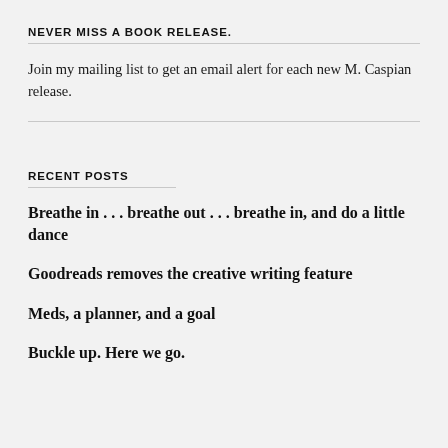NEVER MISS A BOOK RELEASE.
Join my mailing list to get an email alert for each new M. Caspian release.
RECENT POSTS
Breathe in . . . breathe out . . . breathe in, and do a little dance
Goodreads removes the creative writing feature
Meds, a planner, and a goal
Buckle up. Here we go.